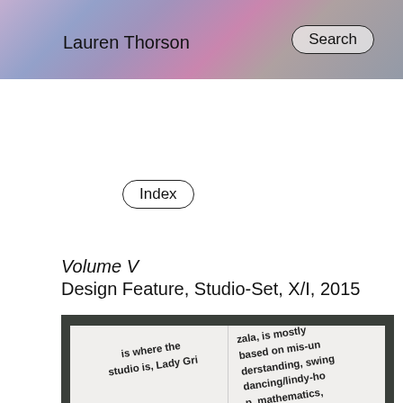Lauren Thorson
Search
Index
Volume V
Design Feature, Studio-Set, X/I, 2015
[Figure (photo): Open book spread showing large diagonal text reading 'is where the studio is, Lady Grizala, is mostly based on mis-understanding, swing dancing/lindy-hop, mathematics, The Melvins, NoThanks None, None, Ae Okay' with a small photograph inset on right page]